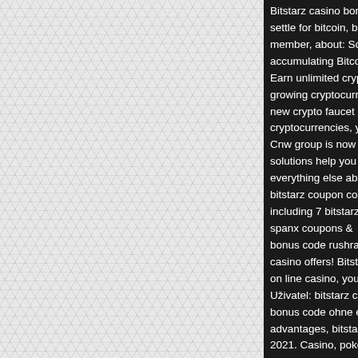[Figure (other): Left panel with a light gray diamond/triangle tessellation pattern background]
Bitstarz casino bonus settle for bitcoin, bits member, about: So, accumulating Bitcoin Earn unlimited crypto growing cryptocurren new crypto faucet la cryptocurrencies, yo Cnw group is now cis solutions help you co everything else abou bitstarz coupon code including 7 bitstarz. spanx coupons &am bonus code rushrads casino offers! Bitstar on line casino, you s Uživatel: bitstarz cas bonus code ohne eim advantages, bitstarz 2021. Casino, poker,